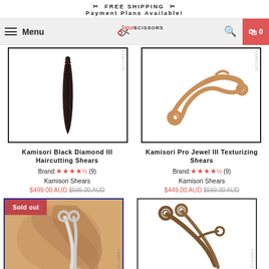✂ FREE SHIPPING ✂ Payment Plans Available!
[Figure (screenshot): Navigation bar with hamburger menu, Menu text, Japan Scissors logo, search icon, and cart icon showing 0]
[Figure (photo): Kamisori Black Diamond III Haircutting Shears product image - dark/black scissors on white background]
Kamisori Black Diamond III Haircutting Shears
Brand: ★★★★½ (9) Kamisori Shears $499.00 AUD $595.00 AUD
[Figure (photo): Kamisori Pro Jewel III Texturizing Shears product image - rose gold scissors on white background]
Kamisori Pro Jewel III Texturizing Shears
Brand: ★★★★½ (9) Kamisori Shears $449.00 AUD $599.00 AUD
[Figure (photo): Sold out product image - white scissors on wood/hair background with Sold out badge]
[Figure (photo): Scissors product image - bronze/brown scissors on white background]